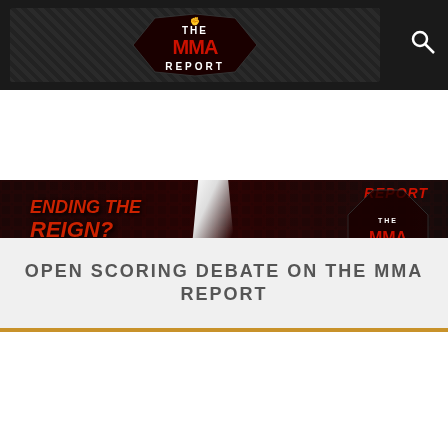[Figure (screenshot): The MMA Report website header with logo banner on dark background and search icon]
[Figure (screenshot): Video player showing MMA Report content with title text including 'REIGN?' text and video controls showing 00:00 / 05:17 duration]
OPEN SCORING DEBATE ON THE MMA REPORT
[Figure (screenshot): YouTube video thumbnail for 'Marc Ratner Comments On Being A...' with MMA Report branding, red play button visible]